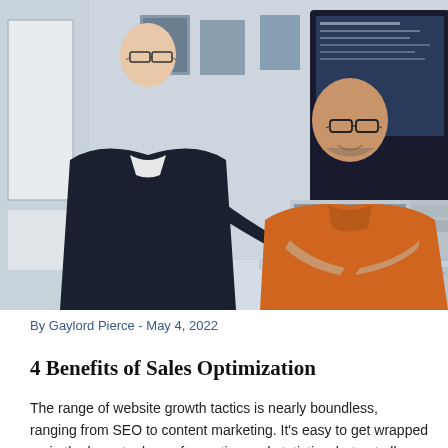[Figure (photo): Two businessmen in an office showroom looking at a laptop. One man wears a dark blazer and glasses, pointing at the screen; the other wears an orange shirt and glasses, smiling. Large display screens visible in the background along with framed artwork.]
By Gaylord Pierce - May 4, 2022
4 Benefits of Sales Optimization
The range of website growth tactics is nearly boundless, ranging from SEO to content marketing. It's easy to get wrapped up in the hamster loop of reporting and statistics, but not all techniques provide equal value. So, in order to increase profitability and development, which concepts should you